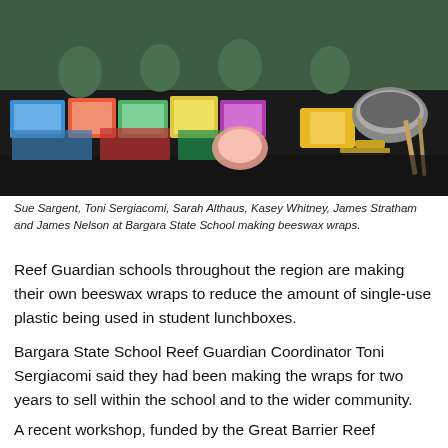[Figure (photo): Group of people at a table at Bargara State School making beeswax wraps. The table is covered with colourful fabric wraps, beeswax blocks, and crafting supplies. People are wearing green shirts in the background.]
Sue Sargent, Toni Sergiacomi, Sarah Althaus, Kasey Whitney, James Stratham and James Nelson at Bargara State School making beeswax wraps.
Reef Guardian schools throughout the region are making their own beeswax wraps to reduce the amount of single-use plastic being used in student lunchboxes.
Bargara State School Reef Guardian Coordinator Toni Sergiacomi said they had been making the wraps for two years to sell within the school and to the wider community.
A recent workshop, funded by the Great Barrier Reef Foundation through the Burnett Local Marine Advisory